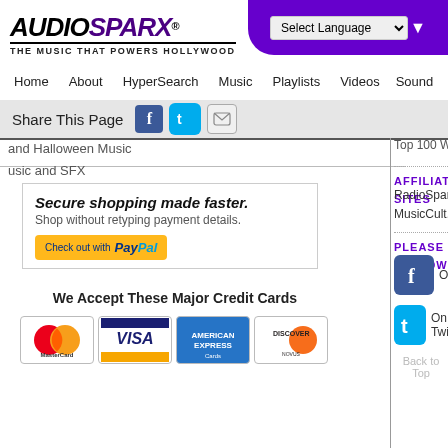AUDIOSPARX® THE MUSIC THAT POWERS HOLLYWOOD — Select Language
Home  About  HyperSearch  Music  Playlists  Videos  Sound
Share This Page
and Halloween Music
usic and SFX
Top 100 World Vocals
AFFILIATED SITES
RadioSparx.com
MusicCult.com
PLEASE FOLLOW
On Facebook
On Twitter
[Figure (infographic): PayPal advertisement: Secure shopping made faster. Shop without retyping payment details. Check out with PayPal button.]
We Accept These Major Credit Cards
[Figure (infographic): Credit card logos: MasterCard, VISA, American Express, Discover]
Back to Top